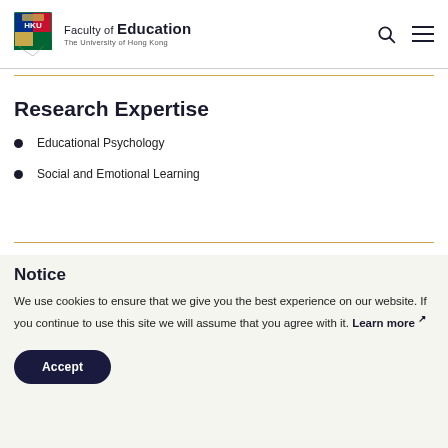Faculty of Education — The University of Hong Kong
Research Expertise
Educational Psychology
Social and Emotional Learning
Notice
We use cookies to ensure that we give you the best experience on our website. If you continue to use this site we will assume that you agree with it. Learn more
Accept